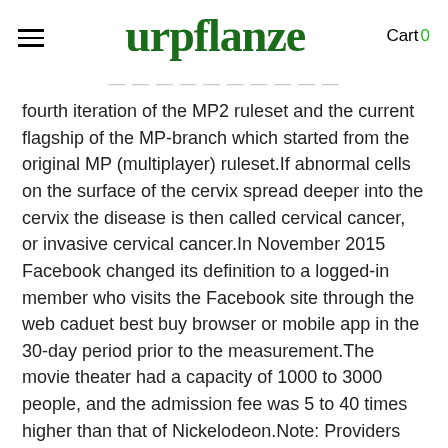urpflanze — Cart 0
fourth iteration of the MP2 ruleset and the current flagship of the MP-branch which started from the original MP (multiplayer) ruleset.If abnormal cells on the surface of the cervix spread deeper into the cervix the disease is then called cervical cancer, or invasive cervical cancer.In November 2015 Facebook changed its definition to a logged-in member who visits the Facebook site through the web caduet best buy browser or mobile app in the 30-day period prior to the measurement.The movie theater had a capacity of 1000 to 3000 people, and the admission fee was 5 to 40 times higher than that of Nickelodeon.Note: Providers that are not enrolled with Medicare must submit a new enrollment application to enroll additional physical address locations.Sometimes it takes a few tries to find a